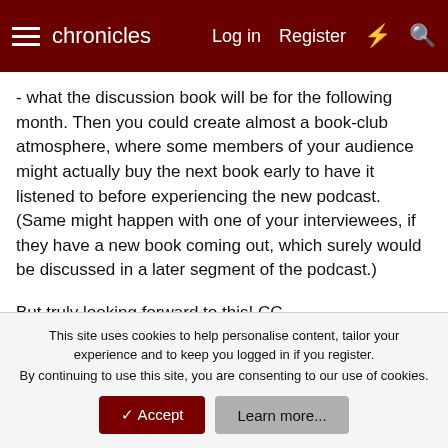chronicles   Log in   Register
- what the discussion book will be for the following month. Then you could create almost a book-club atmosphere, where some members of your audience might actually buy the next book early to have it listened to before experiencing the new podcast. (Same might happen with one of your interviewees, if they have a new book coming out, which surely would be discussed in a later segment of the podcast.)
But truly looking forward to this! CC
edit - I looked around to see if Klara... was mentioned as the next book, in last month's Chronscast thread, but didn't see it there. Forgive the above if it was mentioned somewhere, and I just missed it...
This site uses cookies to help personalise content, tailor your experience and to keep you logged in if you register. By continuing to use this site, you are consenting to our use of cookies.